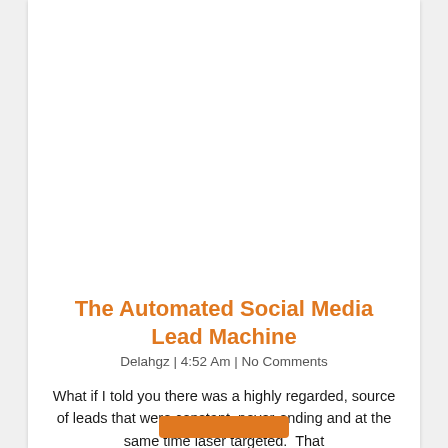The Automated Social Media Lead Machine
Delahgz | 4:52 Am | No Comments
What if I told you there was a highly regarded, source of leads that were constant, never-ending and at the same time laser targeted.  That